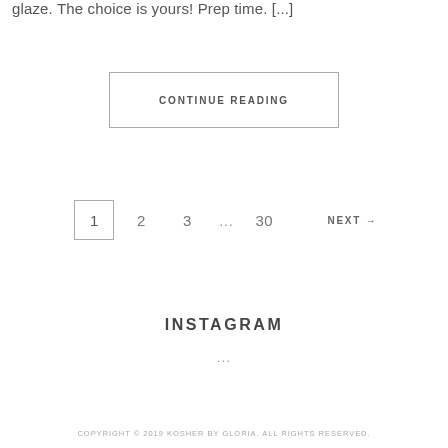glaze. The choice is yours! Prep time. [...]
CONTINUE READING
1  2  3  …  30  NEXT →
INSTAGRAM
...
COPYRIGHT © 2019 KOSHER BY GLORIA. ALL RIGHTS RESERVED.